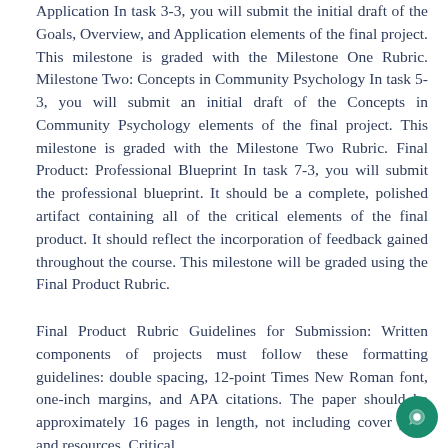Application In task 3-3, you will submit the initial draft of the Goals, Overview, and Application elements of the final project. This milestone is graded with the Milestone One Rubric. Milestone Two: Concepts in Community Psychology In task 5-3, you will submit an initial draft of the Concepts in Community Psychology elements of the final project. This milestone is graded with the Milestone Two Rubric. Final Product: Professional Blueprint In task 7-3, you will submit the professional blueprint. It should be a complete, polished artifact containing all of the critical elements of the final product. It should reflect the incorporation of feedback gained throughout the course. This milestone will be graded using the Final Product Rubric.
Final Product Rubric Guidelines for Submission: Written components of projects must follow these formatting guidelines: double spacing, 12-point Times New Roman font, one-inch margins, and APA citations. The paper should be approximately 16 pages in length, not including cover page and resources. Critical